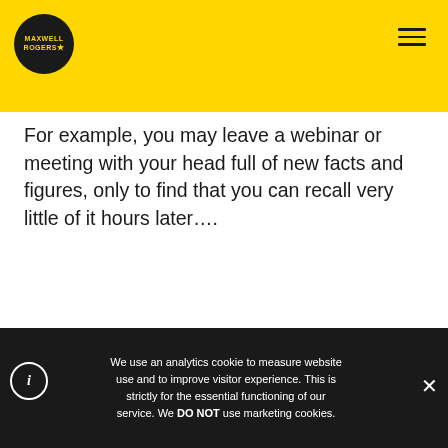[Figure (logo): Maxwell Rogers logo — circular black badge with yellow text on yellow header bar]
For example, you may leave a webinar or meeting with your head full of new facts and figures, only to find that you can recall very little of it hours later....
May 27, 2022
"There's nothing I enjoy more than a full day of meetings, pest it later and to do...
We use an analytics cookie to measure website use and to improve visitor experience. This is strictly for the essential functioning of our service. We DO NOT use marketing cookies.